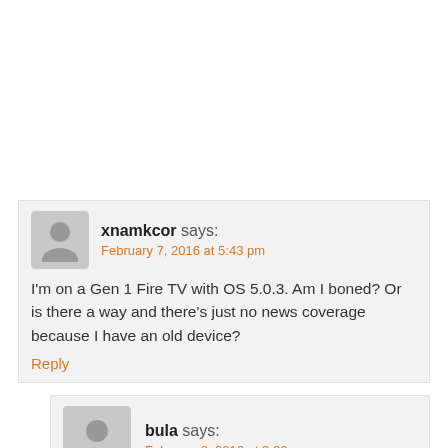[empty white space at top of page]
xnamkcor says: February 7, 2016 at 5:43 pm
I'm on a Gen 1 Fire TV with OS 5.0.3. Am I boned? Or is there a way and there's just no news coverage because I have an old device?
Reply
bula says: February 8, 2016 at 3:26 am
This guide is for gen 2 FireTv only, will not work on gen 1.
Reply